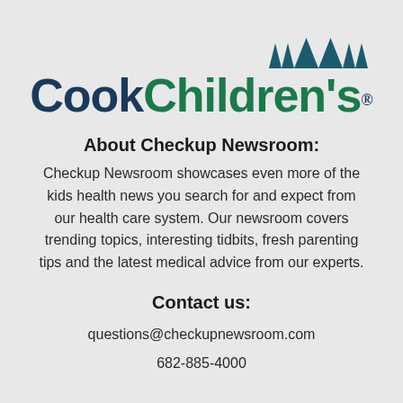[Figure (logo): Cook Children's logo with three dark teal triangles above the text. 'Cook' in dark navy bold and 'Children's' in dark green bold with a registered trademark symbol.]
About Checkup Newsroom:
Checkup Newsroom showcases even more of the kids health news you search for and expect from our health care system. Our newsroom covers trending topics, interesting tidbits, fresh parenting tips and the latest medical advice from our experts.
Contact us:
questions@checkupnewsroom.com
682-885-4000